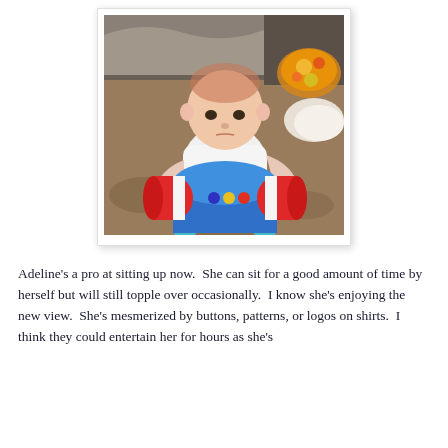[Figure (photo): A baby girl sitting on a patterned carpet, wearing a white long-sleeve shirt with an 'A' monogram and pink tutu/skirt, playing with a blue and red cylinder-shaped toy. A couch and floral pillow are visible in the background.]
Adeline's a pro at sitting up now.  She can sit for a good amount of time by herself but will still topple over occasionally.  I know she's enjoying the new view.  She's mesmerized by buttons, patterns, or logos on shirts.  I think they could entertain her for hours as she's